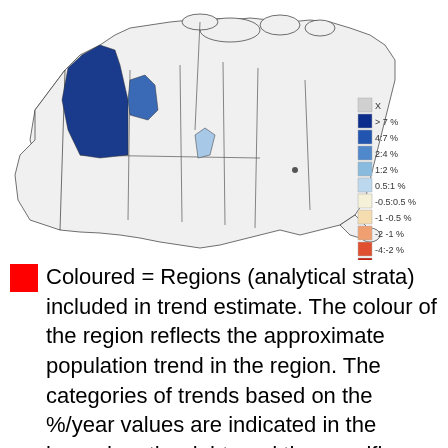[Figure (map): Map of Canada showing regions coloured by approximate population trend (%/year). A legend on the right side shows a colour scale from dark blue (>7%) through light blue, yellow, orange, to dark red (<-7%). One prominent dark blue region is visible in the northwest/Yukon-NWT area.]
Coloured = Regions (analytical strata) included in trend estimate. The colour of the region reflects the approximate population trend in the region. The categories of trends based on the %/year values are indicated in the legend on the right, and the specific